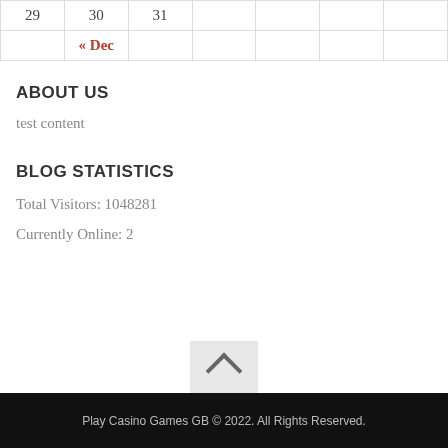| 29 | 30 | 31 |  |  |  |  |
| « Dec |  |  |  |  |  |  |
ABOUT US
test content
BLOG STATISTICS
Total Visitors: 1048281
Currently Online: 2
Play Casino Games GB © 2022. All Rights Reserved.